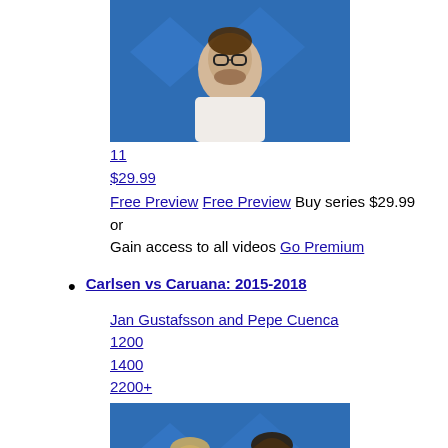1600
2200+
[Figure (photo): Video thumbnail showing a man with glasses and beard against a blue background]
11
$29.99
Free Preview  Free Preview  Buy series $29.99 or
Gain access to all videos  Go Premium
Carlsen vs Caruana: 2015-2018
Jan Gustafsson and Pepe Cuenca
1200
1400
2200+
[Figure (photo): Video thumbnail showing two men against a blue background with diamond pattern]